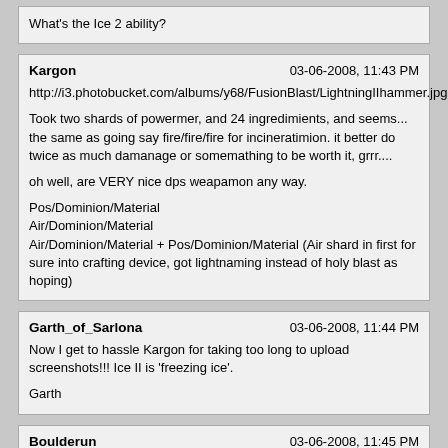What's the Ice 2 ability?
Kargon	03-06-2008, 11:43 PM
http://i3.photobucket.com/albums/y68/FusionBlast/LightningIIhammer.jpg

Took two shards of powermer, and 24 ingredimients, and seems... the same as going say fire/fire/fire for incineratimion. it better do twice as much damanage or somemathing to be worth it, grrr....

oh well, are VERY nice dps weapamon any way.

Pos/Dominion/Material
Air/Dominion/Material
Air/Dominion/Material + Pos/Dominion/Material (Air shard in first for sure into crafting device, got lightnaming instead of holy blast as hoping)
Garth_of_Sarlona	03-06-2008, 11:44 PM
Now I get to hassle Kargon for taking too long to upload screenshots!!! Ice II is 'freezing ice'.

Garth
Boulderun	03-06-2008, 11:45 PM
I sure hope Lightning Strike is worth actually putting on a raid weapon, as opposed to Cloudburst...
Tanka	03-06-2008, 11:47 PM
Considering that all the demons and devils (save the DQ) are not resistant/immune to holy or shock damage, yeah, that thing's gonna rip them a